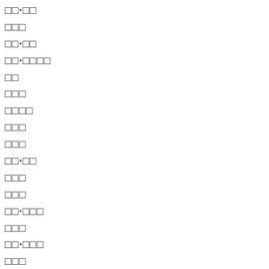□□·□□
□□□
□□·□□
□□·□□□□
□□
□□□
□□□□
□□□
□□□
□□·□□
□□□
□□□
□□·□□□
□□□
□□·□□□
□□□
□□□